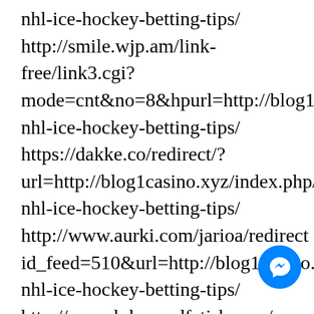nhl-ice-hockey-betting-tips/ http://smile.wjp.am/link-free/link3.cgi? mode=cnt&no=8&hpurl=http://blog1cas nhl-ice-hockey-betting-tips/ https://dakke.co/redirect/? url=http://blog1casino.xyz/index.php/2 nhl-ice-hockey-betting-tips/ http://www.aurki.com/jarioa/redirect id_feed=510&url=http://blog1casino.xyz nhl-ice-hockey-betting-tips/ http://www.bdsmandfetish.com/ bin/sites/out.cgi?